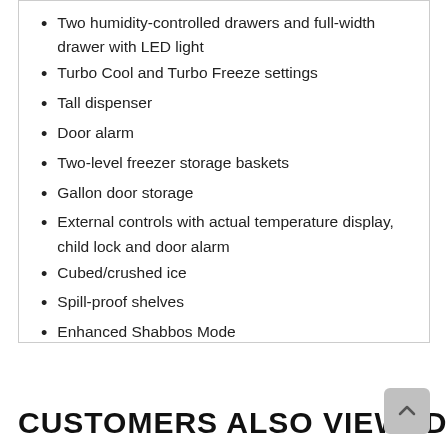Two humidity-controlled drawers and full-width drawer with LED light
Turbo Cool and Turbo Freeze settings
Tall dispenser
Door alarm
Two-level freezer storage baskets
Gallon door storage
External controls with actual temperature display, child lock and door alarm
Cubed/crushed ice
Spill-proof shelves
Enhanced Shabbos Mode
CUSTOMERS ALSO VIEWED